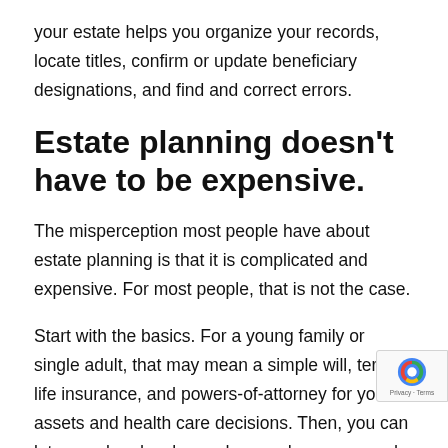your estate helps you organize your records, locate titles, confirm or update beneficiary designations, and find and correct errors.
Estate planning doesn't have to be expensive.
The misperception most people have about estate planning is that it is complicated and expensive. For most people, that is not the case.
Start with the basics. For a young family or single adult, that may mean a simple will, term life insurance, and powers-of-attorney for your assets and health care decisions. Then, you can let your plan develop and expand as your needs change and your financial